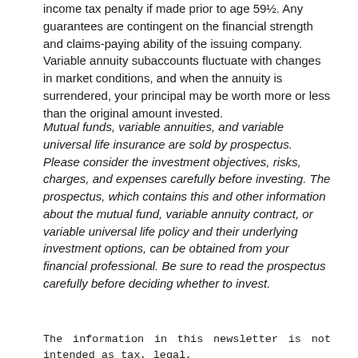income tax penalty if made prior to age 59½. Any guarantees are contingent on the financial strength and claims-paying ability of the issuing company. Variable annuity subaccounts fluctuate with changes in market conditions, and when the annuity is surrendered, your principal may be worth more or less than the original amount invested.
Mutual funds, variable annuities, and variable universal life insurance are sold by prospectus. Please consider the investment objectives, risks, charges, and expenses carefully before investing. The prospectus, which contains this and other information about the mutual fund, variable annuity contract, or variable universal life policy and their underlying investment options, can be obtained from your financial professional. Be sure to read the prospectus carefully before deciding whether to invest.
The information in this newsletter is not intended as tax, legal,